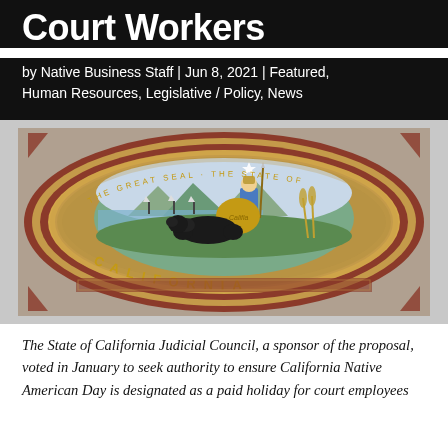Court Workers
by Native Business Staff | Jun 8, 2021 | Featured, Human Resources, Legislative / Policy, News
[Figure (photo): Mosaic of the Great Seal of the State of California, featuring Minerva seated with a bear, ships in the bay, and decorative border with 'CALIFORNIA' text]
The State of California Judicial Council, a sponsor of the proposal, voted in January to seek authority to ensure California Native American Day is designated as a paid holiday for court employees